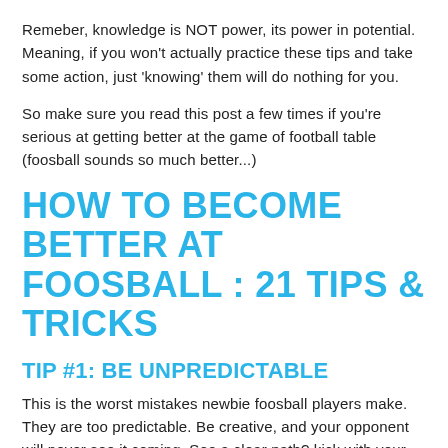Remeber, knowledge is NOT power, its power in potential. Meaning, if you won't actually practice these tips and take some action, just 'knowing' them will do nothing for you.
So make sure you read this post a few times if you're serious at getting better at the game of football table (foosball sounds so much better...)
HOW TO BECOME BETTER AT FOOSBALL : 21 TIPS & TRICKS
TIP #1: BE UNPREDICTABLE
This is the worst mistakes newbie foosball players make. They are too predictable. Be creative, and your opponent will never see it coming. See a clear path? kick with your